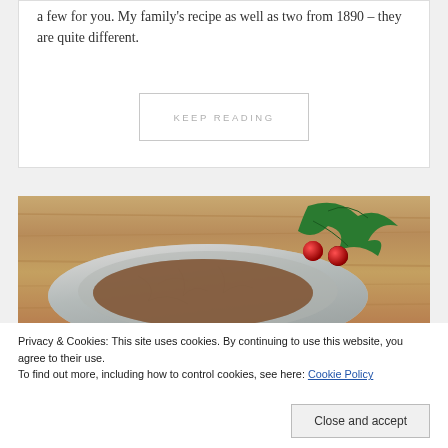a few for you. My family's recipe as well as two from 1890 – they are quite different.
KEEP READING
[Figure (photo): A ceramic bowl with crackle glaze containing what appears to be a dark food item, decorated with holly leaves and red berries, placed on a wooden surface.]
Privacy & Cookies: This site uses cookies. By continuing to use this website, you agree to their use.
To find out more, including how to control cookies, see here: Cookie Policy
Close and accept